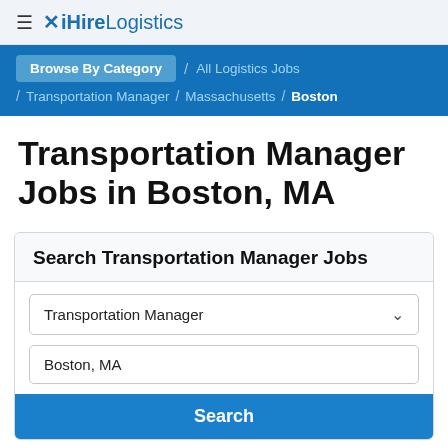≡ iHireLogistics
Browse By Category / All Logistics Jobs / Transportation Manager / Massachusetts / Boston
Transportation Manager Jobs in Boston, MA
Search Transportation Manager Jobs
Transportation Manager
Boston, MA
Search